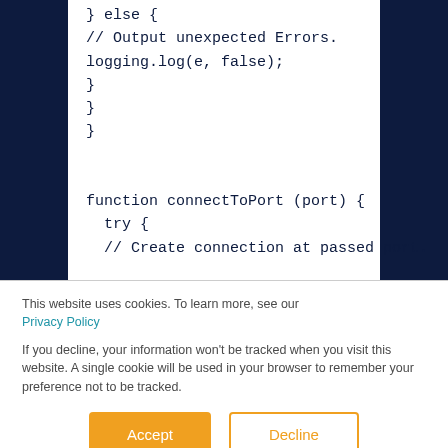} else {
// Output unexpected Errors.
logging.log(e, false);
}
}
}

function connectToPort (port) {
try {
// Create connection at passed port.
This website uses cookies. To learn more, see our Privacy Policy
If you decline, your information won't be tracked when you visit this website. A single cookie will be used in your browser to remember your preference not to be tracked.
Accept
Decline